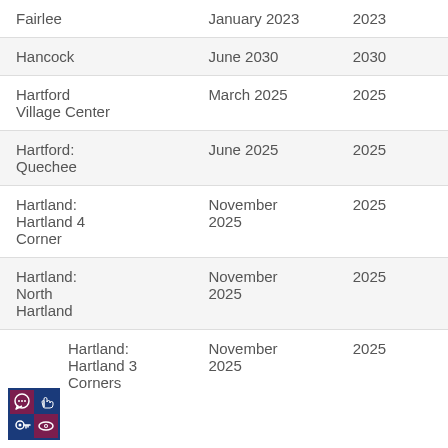| Location | Date | Year |
| --- | --- | --- |
| Fairlee | January 2023 | 2023 |
| Hancock | June 2030 | 2030 |
| Hartford Village Center | March 2025 | 2025 |
| Hartford: Quechee | June 2025 | 2025 |
| Hartland: Hartland 4 Corner | November 2025 | 2025 |
| Hartland: North Hartland | November 2025 | 2025 |
| Hartland: Hartland 3 Corners | November 2025 | 2025 |
[Figure (infographic): A 2x2 grid of icons inside a blue border: top-left purple cell with a speech/chat icon, top-right blue cell with a hand/glove icon, bottom-left blue cell with a key icon, bottom-right purple cell with an eye icon.]